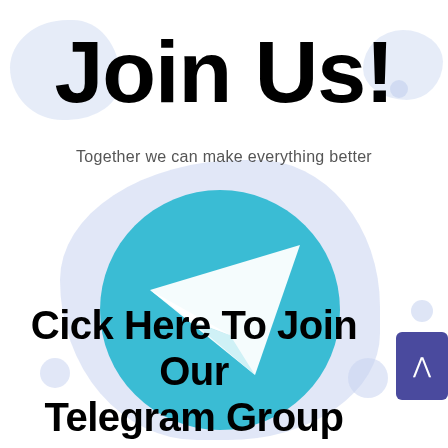Join Us!
Together we can make everything better
[Figure (logo): Telegram logo: teal circle with white paper plane icon pointing upper right]
Cick Here To Join Our Telegram Group